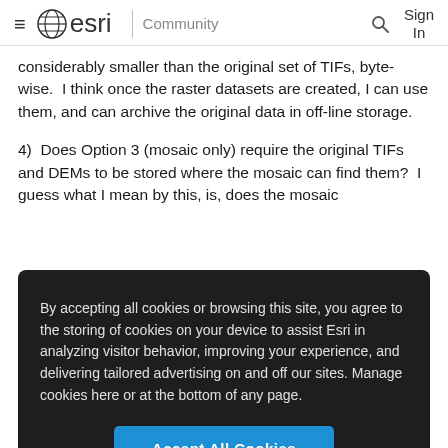≡ esri | Community  🔍  Sign In
considerably smaller than the original set of TIFs, byte-wise.  I think once the raster datasets are created, I can use them, and can archive the original data in off-line storage.
4)  Does Option 3 (mosaic only) require the original TIFs and DEMs to be stored where the mosaic can find them?  I guess what I mean by this, is, does the mosaic
By accepting all cookies or browsing this site, you agree to the storing of cookies on your device to assist Esri in analyzing visitor behavior, improving your experience, and delivering tailored advertising on and off our sites. Manage cookies here or at the bottom of any page.
Accept All Cookies